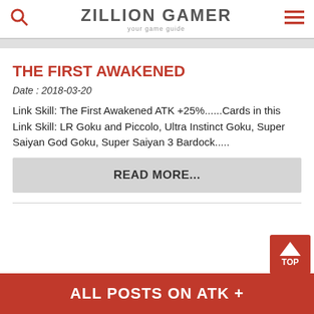ZILLION GAMER — your game guide
THE FIRST AWAKENED
Date : 2018-03-20
Link Skill: The First Awakened ATK +25%......Cards in this Link Skill: LR Goku and Piccolo, Ultra Instinct Goku, Super Saiyan God Goku, Super Saiyan 3 Bardock.....
READ MORE...
ALL POSTS ON ATK +